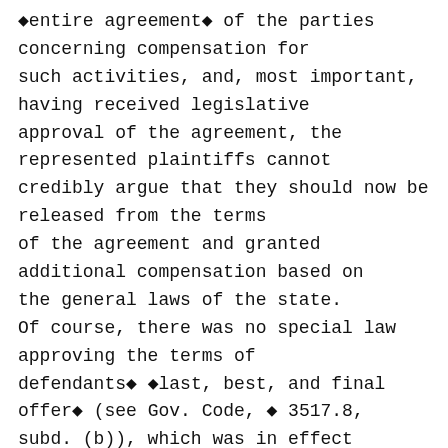◆entire agreement◆ of the parties concerning compensation for such activities, and, most important, having received legislative approval of the agreement, the represented plaintiffs cannot credibly argue that they should now be released from the terms of the agreement and granted additional compensation based on the general laws of the state. Of course, there was no special law approving the terms of defendants◆ ◆last, best, and final offer◆ (see Gov. Code, ◆ 3517.8, subd. (b)), which was in effect between the parties from September 18, 2007 until May 16, 2011. During that time